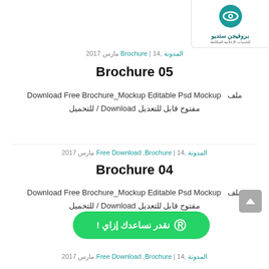[Figure (logo): بروفيجن ستديو logo with teal eye icon and Arabic text for advertising services]
المدونة ,Brochure | 14 مارس 2017
Brochure 05
ملف  Download Free Brochure_Mockup Editable Psd Mockup مفتوح قابل للتعديل Download / للتحميل
المدونة ,Free Download ,Brochure | 14 مارس 2017
Brochure 04
ملف  Download Free Brochure_Mockup Editable Psd Mockup مفتوح قابل للتعديل Download / للتحميل
[Figure (other): Green WhatsApp button with Arabic text نقدر نساعدك إزاي !]
المدونة ,Free Download ,Brochure | 14 مارس 2017